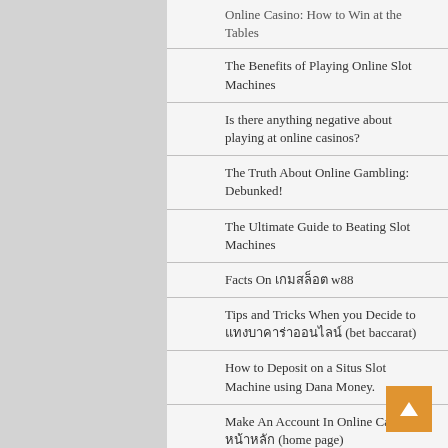Online Casino: How to Win at the Tables
The Benefits of Playing Online Slot Machines
Is there anything negative about playing at online casinos?
The Truth About Online Gambling: Debunked!
The Ultimate Guide to Beating Slot Machines
Facts On เกมสล็อต w88
Tips and Tricks When you Decide to แทงบาคาร่าออนไลน์ (bet baccarat)
How to Deposit on a Situs Slot Machine using Dana Money.
Make An Account In Online Casino's หน้าหลัก (home page)